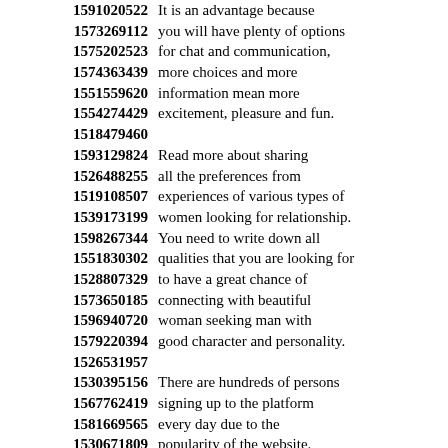1591020522 It is an advantage because
1573269112 you will have plenty of options
1575202523 for chat and communication,
1574363439 more choices and more
1551559620 information mean more
1554274429 excitement, pleasure and fun.
1518479460
1593129824 Read more about sharing
1526488255 all the preferences from
1519108507 experiences of various types of
1539173199 women looking for relationship.
1598267344 You need to write down all
1551830302 qualities that you are looking for
1528807329 to have a great chance of
1573650185 connecting with beautiful
1596940720 woman seeking man with
1579220394 good character and personality.
1526531957
1530395156 There are hundreds of persons
1567762419 signing up to the platform
1581669565 every day due to the
1530671809 popularity of the website.
1557213799 It's an advantage because it
1560882561 eliminates the need to start
1546390412 meeting in virtual reality,
1568822113 ending up disappointed